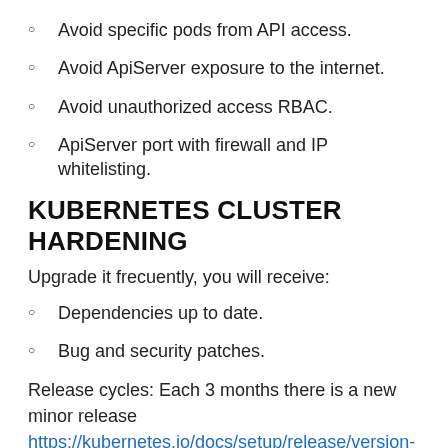Avoid specific pods from API access.
Avoid ApiServer exposure to the internet.
Avoid unauthorized access RBAC.
ApiServer port with firewall and IP whitelisting.
KUBERNETES CLUSTER HARDENING
Upgrade it frecuently, you will receive:
Dependencies up to date.
Bug and security patches.
Release cycles: Each 3 months there is a new minor release https://kubernetes.io/docs/setup/release/version-skew-policy/ 1.20.3 = 1(Major).20(Minor).3(patch)
BEST WAY TO UPDATE OR UPGRADE A